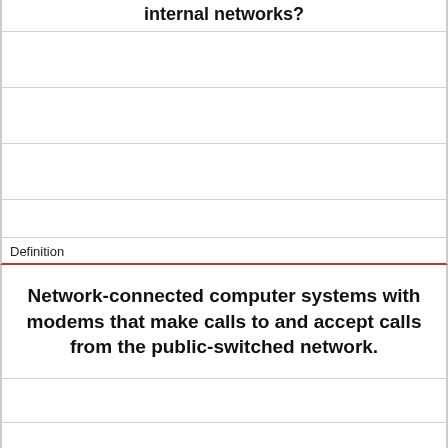internal networks?
Definition
Network-connected computer systems with modems that make calls to and accept calls from the public-switched network.
Term